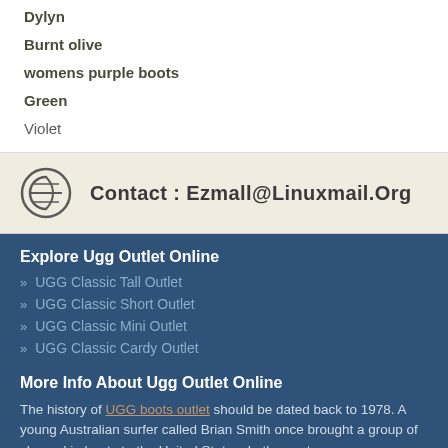Dylyn
Burnt olive
womens purple boots
Green
Violet
Contact : Ezmall@Linuxmail.Org
Explore Ugg Outlet Online
UGG Classic Tall Outlet
UGG Classic Short Outlet
UGG Classic Mini Outlet
UGG Classic Cardy Outlet
More Info About Ugg Outlet Online
The history of UGG boots outlet should be dated back to 1978. A young Australian surfer called Brian Smith once brought a group of sheepskin boots to the United States. In the past many years, Australian craftsmen had been used to sewing sheepskin boots at the